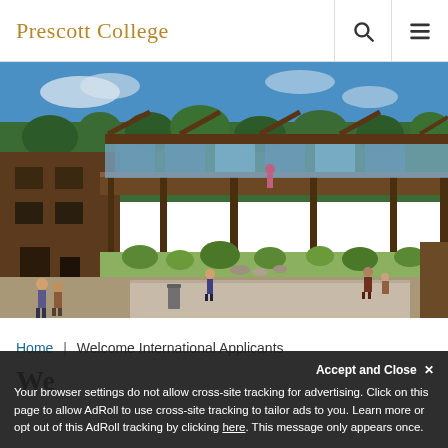Prescott College
[Figure (photo): Aerial/elevated view of Prescott College campus buildings with wooden/timber architecture, green trees, blue sky, and students walking on paths below]
Home | Welcome International Applicants
Welcome International Applicants and the world study in our
Your browser settings do not allow cross-site tracking for advertising. Click on this page to allow AdRoll to use cross-site tracking to tailor ads to you. Learn more or opt out of this AdRoll tracking by clicking here. This message only appears once.